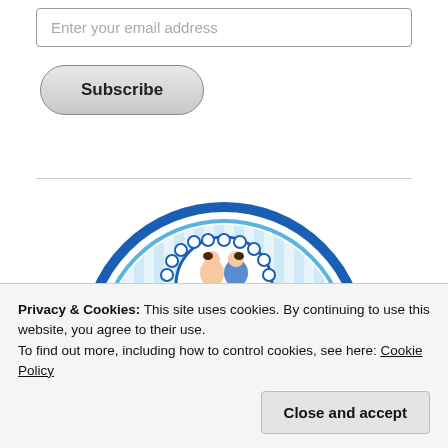[Figure (other): Email input field with placeholder text 'Enter your email address']
[Figure (other): Subscribe button with rounded pill shape and gray gradient background]
[Figure (illustration): Circular logo illustration showing two cartoon children (a girl and a boy) inside a blue decorative circle with light blue vertical stripes in the background]
Privacy & Cookies: This site uses cookies. By continuing to use this website, you agree to their use.
To find out more, including how to control cookies, see here: Cookie Policy
[Figure (other): Close and accept button]